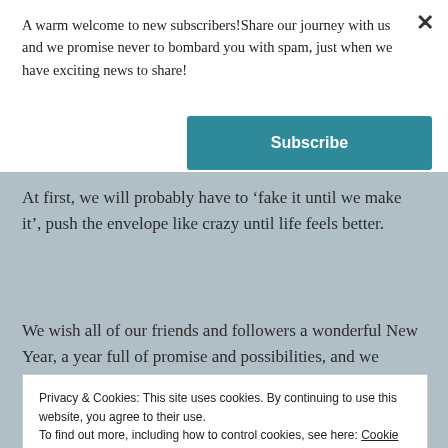A warm welcome to new subscribers!Share our journey with us and we promise never to bombard you with spam, just when we have exciting news to share!
Subscribe
At first, we will probably have to ‘fake it until we make it’, push the envelope like crazy until life feels better.
We wish all of our friends and followers a wonderful New Year, a year full of promise and possibilities, and we
Privacy & Cookies: This site uses cookies. By continuing to use this website, you agree to their use.
To find out more, including how to control cookies, see here: Cookie Policy
Close and accept